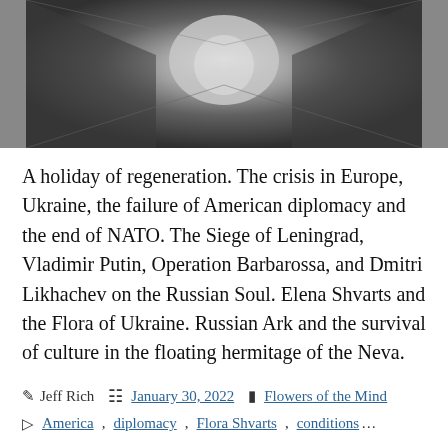[Figure (photo): Black and white photograph of a dark hallway or corridor viewed from the front, with light visible at the far end and shadowy walls on both sides.]
A holiday of regeneration. The crisis in Europe, Ukraine, the failure of American diplomacy and the end of NATO. The Siege of Leningrad, Vladimir Putin, Operation Barbarossa, and Dmitri Likhachev on the Russian Soul. Elena Shvarts and the Flora of Ukraine. Russian Ark and the survival of culture in the floating hermitage of the Neva.
Post author: Jeff Rich  |  January 30, 2022  |  Flowers of the Mind
Tags: America, diplomacy, Flora Shvarts, conditions...